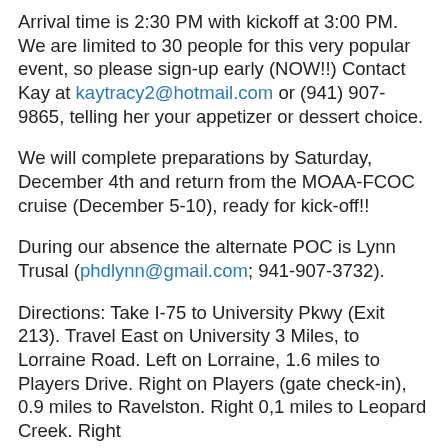Arrival time is 2:30 PM with kickoff at 3:00 PM. We are limited to 30 people for this very popular event, so please sign-up early (NOW!!) Contact Kay at kaytracy2@hotmail.com or (941) 907-9865, telling her your appetizer or dessert choice.
We will complete preparations by Saturday, December 4th and return from the MOAA-FCOC cruise (December 5-10), ready for kick-off!!
During our absence the alternate POC is Lynn Trusal (phdlynn@gmail.com; 941-907-3732).
Directions: Take I-75 to University Pkwy (Exit 213). Travel East on University 3 Miles, to Lorraine Road. Left on Lorraine, 1.6 miles to Players Drive. Right on Players (gate check-in), 0.9 miles to Ravelston. Right 0,1 miles to Leopard Creek. Right